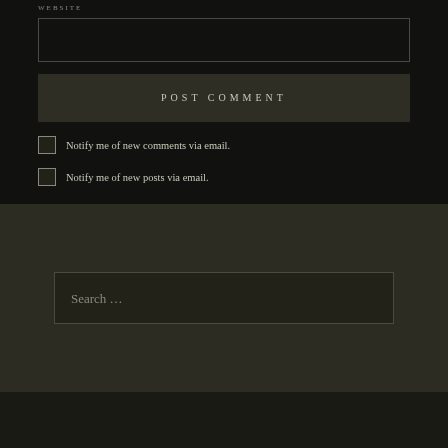WEBSITE
[Figure (other): Website URL text input field, empty, dark background with border]
POST COMMENT
Notify me of new comments via email.
Notify me of new posts via email.
[Figure (other): Search input field with placeholder text 'Search ...']